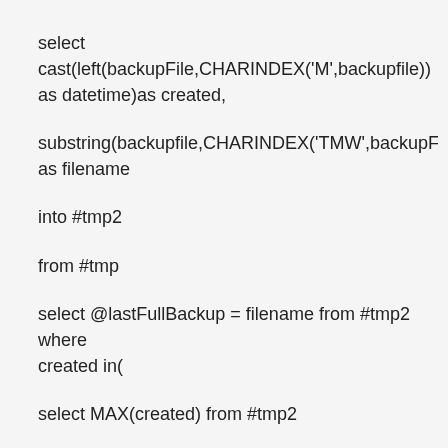select cast(left(backupFile,CHARINDEX('M',backupfile)) as datetime)as created,
substring(backupfile,CHARINDEX('TMW',backupFile),100) as filename
into #tmp2
from #tmp
select @lastFullBackup =  filename from #tmp2 where created in(
select MAX(created) from #tmp2